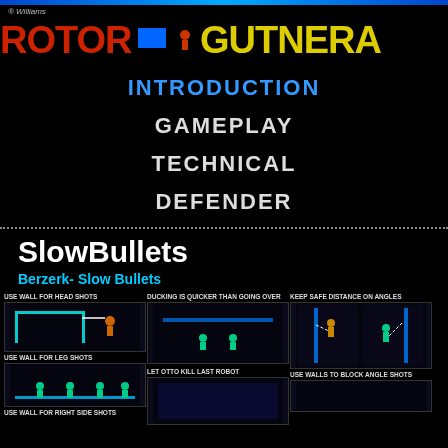[Figure (logo): Williams Robotron/Berzerk logo banner with blue top bar and colorful retro game logo text on black background]
INTRODUCTION
GAMEPLAY
TECHNICAL
DEFENDER
SlowBullets
Berzerk- Slow Bullets
[Figure (screenshot): USE WALL FOR HEAD SHOTS - screenshot of Berzerk gameplay showing robot near wall]
[Figure (screenshot): USE WALL FOR LEG SHOTS - screenshot of Berzerk gameplay showing robots near bottom wall]
USE WALL FOR RIGHT SIDE SHOTS
[Figure (screenshot): DUCKING IS QUICKER THAN GOING OVER - screenshot of Berzerk gameplay]
LET OTTO KILL LAST ROBOT
[Figure (screenshot): LET OTTO KILL LAST ROBOT - screenshot of Berzerk gameplay]
[Figure (screenshot): KEEP SAFE DISTANCE ON ANGLES - screenshots showing angle shots in Berzerk]
USE WALLS TO BLOCK ANGLE SHOTS